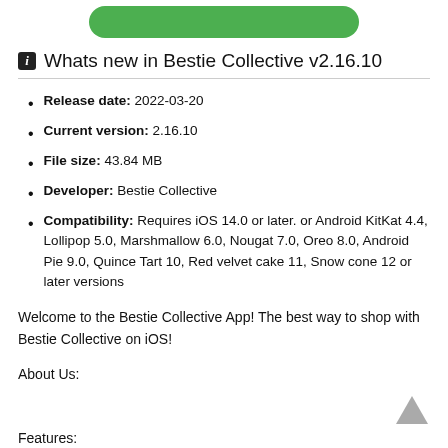[Figure (other): Green rounded rectangle button partially visible at the top of the page]
i Whats new in Bestie Collective v2.16.10
Release date: 2022-03-20
Current version: 2.16.10
File size: 43.84 MB
Developer: Bestie Collective
Compatibility: Requires iOS 14.0 or later. or Android KitKat 4.4, Lollipop 5.0, Marshmallow 6.0, Nougat 7.0, Oreo 8.0, Android Pie 9.0, Quince Tart 10, Red velvet cake 11, Snow cone 12 or later versions
Welcome to the Bestie Collective App! The best way to shop with Bestie Collective on iOS!
About Us:
Features: